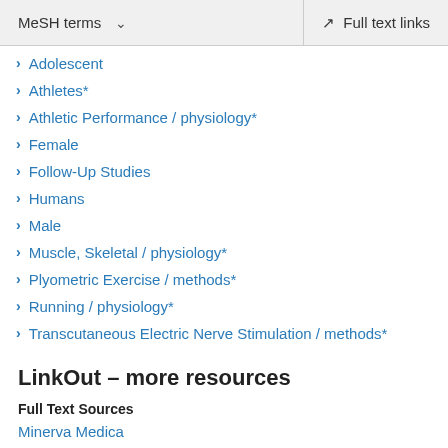MeSH terms   Full text links
Adolescent
Athletes*
Athletic Performance / physiology*
Female
Follow-Up Studies
Humans
Male
Muscle, Skeletal / physiology*
Plyometric Exercise / methods*
Running / physiology*
Transcutaneous Electric Nerve Stimulation / methods*
LinkOut – more resources
Full Text Sources
Minerva Medica